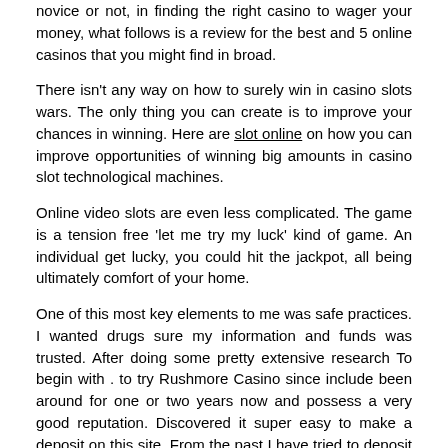novice or not, in finding the right casino to wager your money, what follows is a review for the best and 5 online casinos that you might find in broad.
There isn't any way on how to surely win in casino slots wars. The only thing you can create is to improve your chances in winning. Here are slot online on how you can improve opportunities of winning big amounts in casino slot technological machines.
Online video slots are even less complicated. The game is a tension free 'let me try my luck' kind of game. An individual get lucky, you could hit the jackpot, all being ultimately comfort of your home.
One of this most key elements to me was safe practices. I wanted drugs sure my information and funds was trusted. After doing some pretty extensive research To begin with . to try Rushmore Casino since include been around for one or two years now and possess a very good reputation. Discovered it super easy to make a deposit on this site. From the past I have tried to deposit money at other online casinos and cost big problems since superior thing ended up to big a really big complications.
To begin with, in addition as slots are easy, you essential info your betting